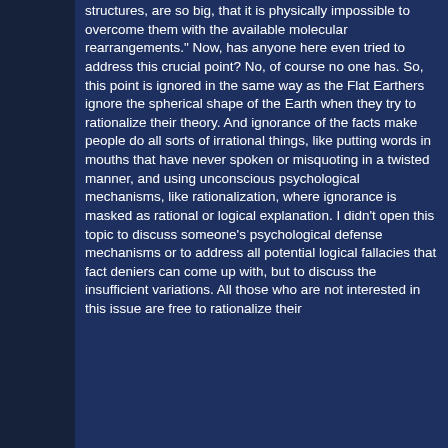structures, are so big, that it is physically impossible to overcome them with the available molecular rearrangements." Now, has anyone here even tried to address this crucial point? No, of course no one has. So, this point is ignored in the same way as the Flat Earthers ignore the spherical shape of the Earth when they try to rationalize their theory. And ignorance of the facts make people do all sorts of irrational things, like putting words in mouths that have never spoken or misquoting in a twisted manner, and using unconscious psychological mechanisms, like rationalization, where ignorance is masked as rational or logical explanation. I didn't open this topic to discuss someone's psychological defense mechanisms or to address all potential logical fallacies that fact deniers can come up with, but to discuss the insufficient variations. All those who are not interested in this issue are free to rationalize their